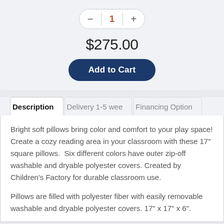[Figure (screenshot): Quantity selector control showing minus button, value 1 in orange, and plus button with rounded pill border]
$275.00
[Figure (screenshot): Add to Cart button, dark navy blue with rounded pill shape]
Description | Delivery 1-5 wee | Financing Option
Bright soft pillows bring color and comfort to your play space! Create a cozy reading area in your classroom with these 17" square pillows.  Six different colors have outer zip-off washable and dryable polyester covers. Created by Children's Factory for durable classroom use.
Pillows are filled with polyester fiber with easily removable washable and dryable polyester covers. 17" x 17" x 6".